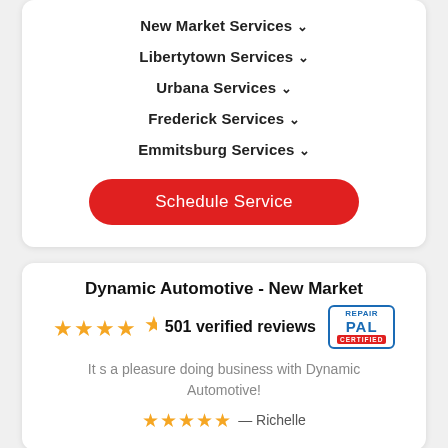New Market Services ∨
Libertytown Services ∨
Urbana Services ∨
Frederick Services ∨
Emmitsburg Services ∨
Schedule Service
Dynamic Automotive - New Market
★★★★½  501 verified reviews
It s a pleasure doing business with Dynamic Automotive!
★★★★★  — Richelle